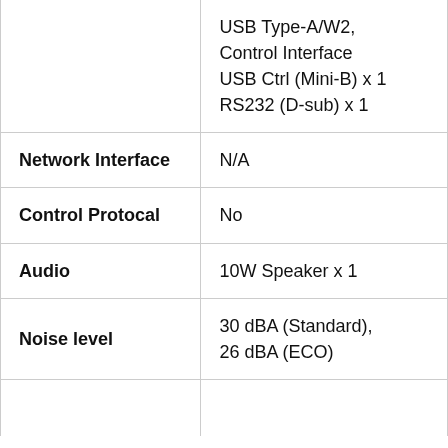|  | USB Type-A/W2, Control Interface
USB Ctrl (Mini-B) x 1
RS232 (D-sub) x 1 |
| Network Interface | N/A |
| Control Protocal | No |
| Audio | 10W Speaker x 1 |
| Noise level | 30 dBA (Standard), 26 dBA (ECO) |
|  |  |